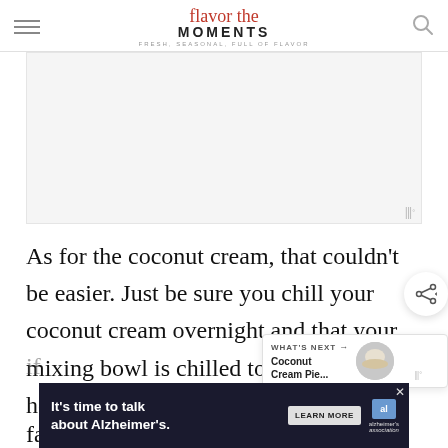flavor the MOMENTS
[Figure (other): Advertisement placeholder rectangle with Mediavine badge in bottom right]
As for the coconut cream, that couldn't be easier.  Just be sure you chill your coconut cream overnight and that your mixing bowl is chilled too.  This will help it whip up nice and fast, with beautiful soft peaks.
[Figure (other): Advertisement banner: It's time to talk about Alzheimer's. with Learn More button and Alzheimer's Association logo]
If